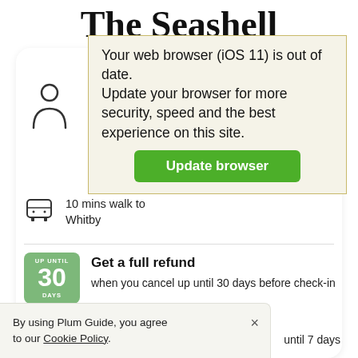The Seashell
Your web browser (iOS 11) is out of date.
Update your browser for more security, speed and the best experience on this site.
Update browser
[Figure (illustration): Person icon (silhouette of a person outline)]
10 mins walk to
Whitby
Get a full refund
when you cancel up until 30 days before check-in
By using Plum Guide, you agree to our Cookie Policy.
until 7 days